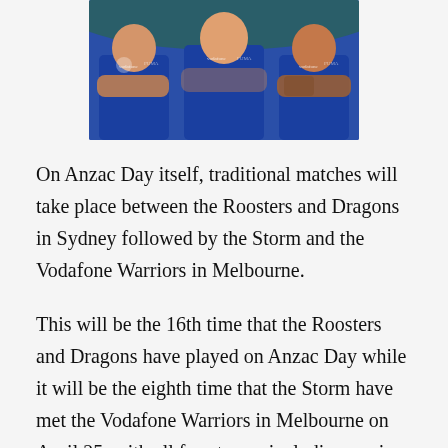[Figure (photo): Three men in blue Vodafone Warriors NRL rugby league polo shirts standing with arms crossed, photographed from the chest up.]
On Anzac Day itself, traditional matches will take place between the Roosters and Dragons in Sydney followed by the Storm and the Vodafone Warriors in Melbourne.
This will be the 16th time that the Roosters and Dragons have played on Anzac Day while it will be the eighth time that the Storm have met the Vodafone Warriors in Melbourne on April 25, with all four teams including a mix of